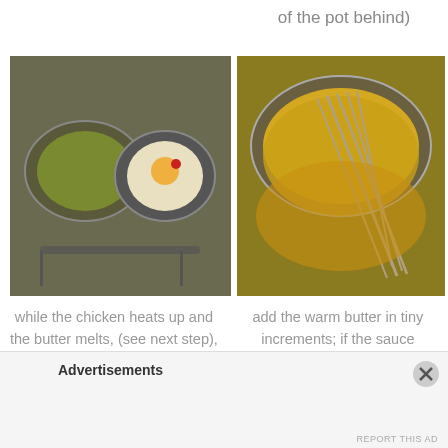of the pot behind)
[Figure (photo): Two metal mixing bowls on a wooden cutting board, one containing a green herb/sauce mixture and one with an egg yolk and red pepper, with a whisk beside them]
[Figure (photo): A metal bowl with yellow butter sauce being whisked with a wire whisk]
while the chicken heats up and the butter melts, (see next step), whisk 1 egg yolk, 1 tblsp water, 1 tsp lemon juice (or vinegar), white pepper (I prefer sriracha, so you could call this a "Sriracha
add the warm butter in tiny increments; if the sauce becomes too thick, add more water, if the sauce is too thin, add more butter
Advertisements